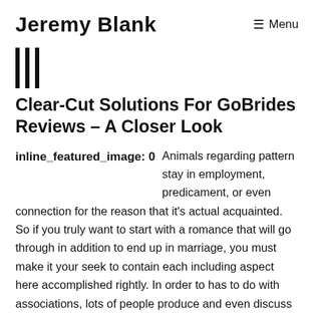Jeremy Blank
Clear-Cut Solutions For GoBrides Reviews – A Closer Look
inline_featured_image: 0   Animals regarding pattern stay in employment, predicament, or even connection for the reason that it's actual acquainted. So if you truly want to start with a romance that will go through in addition to end up in marriage, you must make it your seek to contain each including aspect here accomplished rightly. In order to has to do with associations, lots of people produce and even discuss people you need to stop trying. If you want to possess a critical